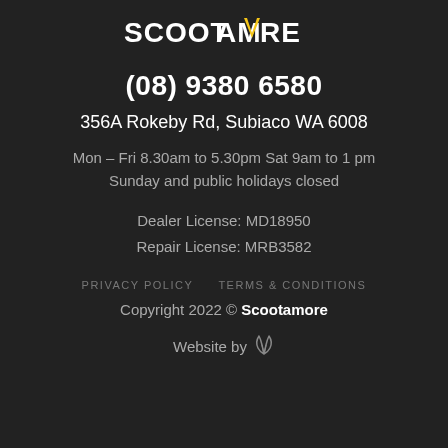[Figure (logo): SCOOTAMORE logo in white bold uppercase letters with a yellow chevron/V shape replacing the V in MORE]
(08) 9380 6580
356A Rokeby Rd, Subiaco WA 6008
Mon – Fri 8.30am to 5.30pm Sat 9am to 1 pm
Sunday and public holidays closed
Dealer License: MD18950
Repair License: MRB3582
PRIVACY POLICY   TERMS & CONDITIONS
Copyright 2022 © Scootamore
Website by [logo]